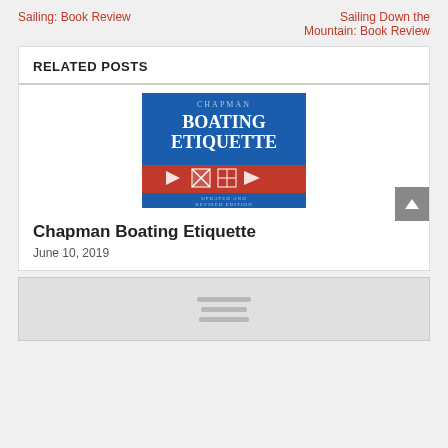Sailing: Book Review
Sailing Down the Mountain: Book Review
RELATED POSTS
[Figure (photo): Book cover of Chapman Boating Etiquette, Updated and Revised Edition. Blue cover with red band in the middle featuring nautical flag symbols.]
Chapman Boating Etiquette
June 10, 2019
[Figure (photo): Partial image of a second related post, showing a light grey placeholder with three horizontal lines centered.]